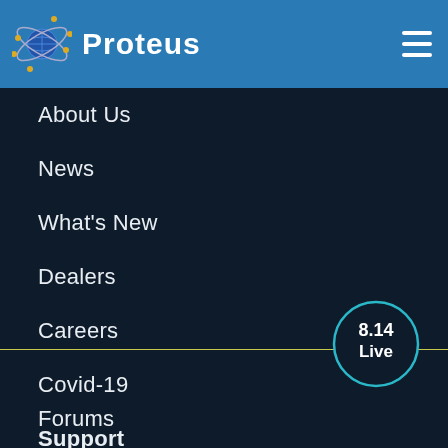Proteus
About Us
News
What's New
Dealers
Careers
Covid-19
Support
[Figure (infographic): Circle badge showing version 8.14 Live in teal outline circle on dark navy background]
Forums